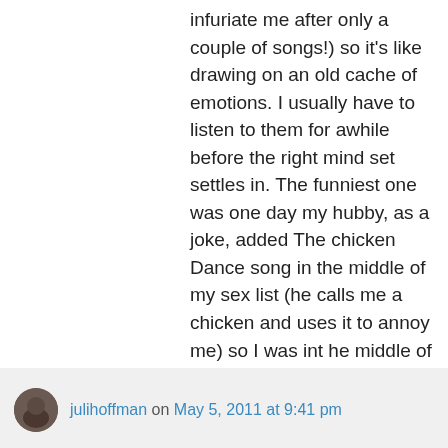infuriate me after only a couple of songs!) so it's like drawing on an old cache of emotions. I usually have to listen to them for awhile before the right mind set settles in. The funniest one was one day my hubby, as a joke, added The chicken Dance song in the middle of my sex list (he calls me a chicken and uses it to annoy me) so I was int he middle of the scene and then that song came on – my couple ended up in a huge fight, LOL! *shakes head*
Like
Reply
julihoffman on May 5, 2011 at 9:41 pm